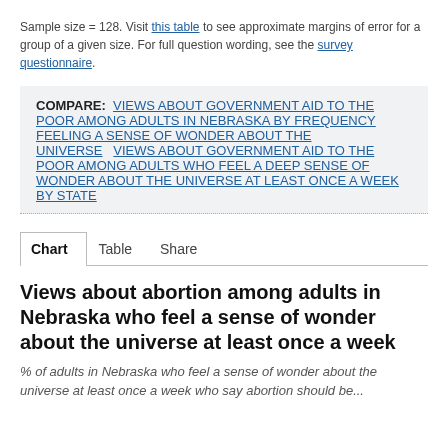Sample size = 128. Visit this table to see approximate margins of error for a group of a given size. For full question wording, see the survey questionnaire.
COMPARE: VIEWS ABOUT GOVERNMENT AID TO THE POOR AMONG ADULTS IN NEBRASKA BY FREQUENCY FEELING A SENSE OF WONDER ABOUT THE UNIVERSE   VIEWS ABOUT GOVERNMENT AID TO THE POOR AMONG ADULTS WHO FEEL A DEEP SENSE OF WONDER ABOUT THE UNIVERSE AT LEAST ONCE A WEEK BY STATE
Chart   Table   Share
Views about abortion among adults in Nebraska who feel a sense of wonder about the universe at least once a week
% of adults in Nebraska who feel a sense of wonder about the universe at least once a week who say abortion should be...